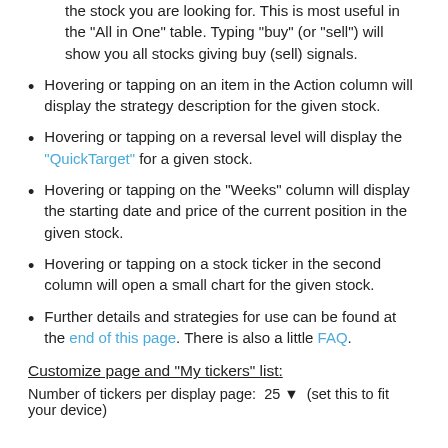the stock you are looking for. This is most useful in the "All in One" table. Typing "buy" (or "sell") will show you all stocks giving buy (sell) signals.
Hovering or tapping on an item in the Action column will display the strategy description for the given stock.
Hovering or tapping on a reversal level will display the "QuickTarget" for a given stock.
Hovering or tapping on the "Weeks" column will display the starting date and price of the current position in the given stock.
Hovering or tapping on a stock ticker in the second column will open a small chart for the given stock.
Further details and strategies for use can be found at the end of this page. There is also a little FAQ.
Customize page and "My tickers" list:
Number of tickers per display page: 25 ▼ (set this to fit your device)